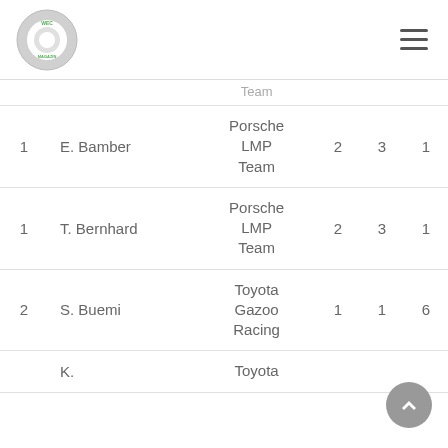WEC Magazine logo and navigation menu
|  |  | Team |  |  |  |
| --- | --- | --- | --- | --- | --- |
| 1 | E. Bamber | Porsche LMP Team | 2 | 3 | 1 |
| 1 | T. Bernhard | Porsche LMP Team | 2 | 3 | 1 |
| 2 | S. Buemi | Toyota Gazoo Racing | 1 | 1 | 6 |
|  | K. | Toyota |  |  |  |